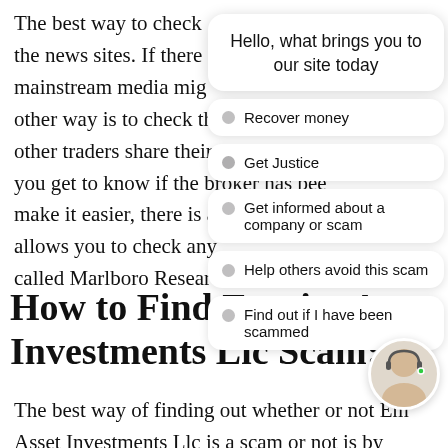The best way to check the news sites. If there mainstream media might other way is to check the forums and other traders share their experiences. This will help you get to know if the broker has been make it easier, there is a tool that lets it allows you to check any called Marlboro Research
[Figure (screenshot): Chat widget overlay with greeting 'Hello, what brings you to our site today' and options: Recover money, Get Justice, Get informed about a company or scam, Help others avoid this scam, Find out if I have been scammed]
How to Find Empire Asset Investments Llc Scam:
The best way of finding out whether or not Empire Asset Investments Llc is a scam or not is by checking